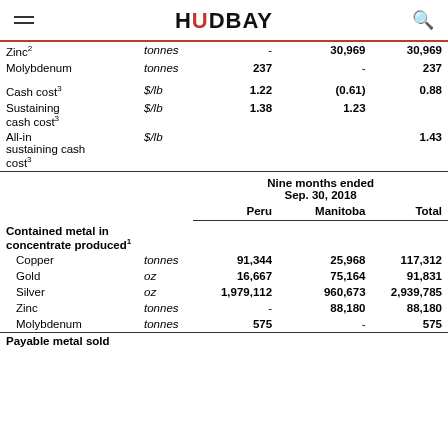HUDBAY
|  |  | Peru | Manitoba | Total |
| --- | --- | --- | --- | --- |
| Zinc² | tonnes | - | 30,969 | 30,969 |
| Molybdenum | tonnes | 237 | - | 237 |
| Cash cost³ | $/lb | 1.22 | (0.61) | 0.88 |
| Sustaining cash cost³ | $/lb | 1.38 | 1.23 |  |
| All-in sustaining cash cost³ | $/lb |  |  | 1.43 |
| Nine months ended Sep. 30, 2018 |  |  |  |  |
|  |  | Peru | Manitoba | Total |
| Contained metal in concentrate produced¹ |  |  |  |  |
| Copper | tonnes | 91,344 | 25,968 | 117,312 |
| Gold | oz | 16,667 | 75,164 | 91,831 |
| Silver | oz | 1,979,112 | 960,673 | 2,939,785 |
| Zinc | tonnes | - | 88,180 | 88,180 |
| Molybdenum | tonnes | 575 | - | 575 |
| Payable metal sold |  |  |  |  |